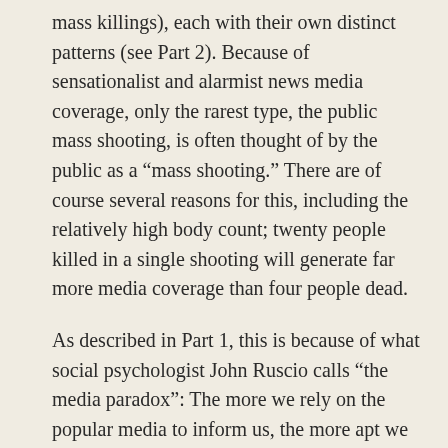mass killings), each with their own distinct patterns (see Part 2). Because of sensationalist and alarmist news media coverage, only the rarest type, the public mass shooting, is often thought of by the public as a “mass shooting.” There are of course several reasons for this, including the relatively high body count; twenty people killed in a single shooting will generate far more media coverage than four people dead.
As described in Part 1, this is because of what social psychologist John Ruscio calls “the media paradox”: The more we rely on the popular media to inform us, the more apt we are to misplace our fears. The paradox is the combined result of two biases, one inherent in the news-gathering process, the other inherent in the way our minds organize and recall information. The more emotional and vivid the